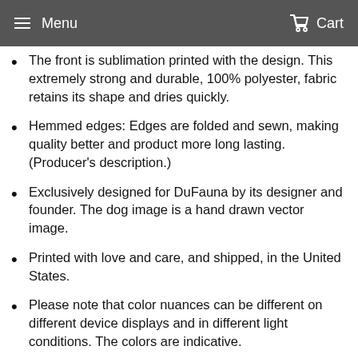Menu   Cart
The front is sublimation printed with the design. This extremely strong and durable, 100% polyester, fabric retains its shape and dries quickly.
Hemmed edges: Edges are folded and sewn, making quality better and product more long lasting. (Producer's description.)
Exclusively designed for DuFauna by its designer and founder. The dog image is a hand drawn vector image.
Printed with love and care, and shipped, in the United States.
Please note that color nuances can be different on different device displays and in different light conditions. The colors are indicative.